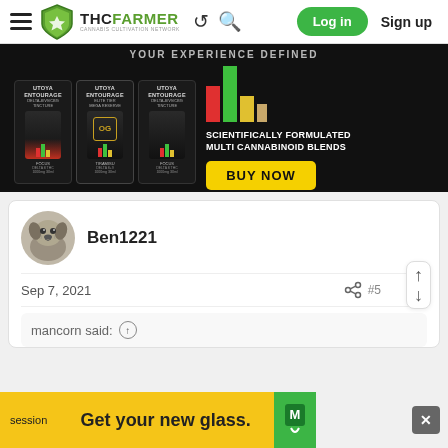THCFarmer - Cannabis Cultivation Network | Log in | Sign up
[Figure (photo): Advertisement banner for Utoya Entourage cannabinoid products with text 'YOUR EXPERIENCE DEFINED', 'SCIENTIFICALLY FORMULATED MULTI CANNABINOID BLENDS', and a yellow 'BUY NOW' button. Shows three product bottles.]
[Figure (photo): User avatar photo showing a dog (bulldog/pug type)]
Ben1221
Sep 7, 2021
mancorn said:
[Figure (screenshot): Bottom advertisement banner: session | Get your new glass. with Session app logo and close button]